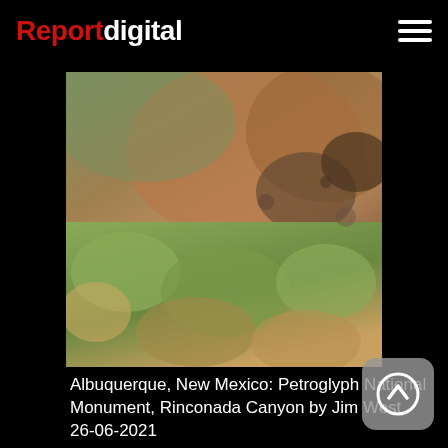Reportdigital
[Figure (photo): Outdoor photograph of desert scrub vegetation (light green/grey sagebrush and dry grasses) against reddish-brown rocky terrain, taken at Petroglyph National Monument, Rinconada Canyon, Albuquerque, New Mexico]
Albuquerque, New Mexico: Petroglyph National Monument, Rinconada Canyon by Jim West 26-06-2021
[Figure (photo): Second photo thumbnail, largely dark/unloaded image area]